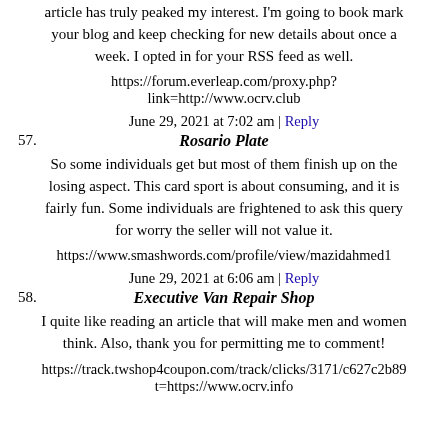article has truly peaked my interest. I'm going to book mark your blog and keep checking for new details about once a week. I opted in for your RSS feed as well.
https://forum.everleap.com/proxy.php?link=http://www.ocrv.club
June 29, 2021 at 7:02 am | Reply
57. Rosario Plate
So some individuals get but most of them finish up on the losing aspect. This card sport is about consuming, and it is fairly fun. Some individuals are frightened to ask this query for worry the seller will not value it.
https://www.smashwords.com/profile/view/mazidahmed1
June 29, 2021 at 6:06 am | Reply
58. Executive Van Repair Shop
I quite like reading an article that will make men and women think. Also, thank you for permitting me to comment!
https://track.twshop4coupon.com/track/clicks/3171/c627c2b89... t=https://www.ocrv.info